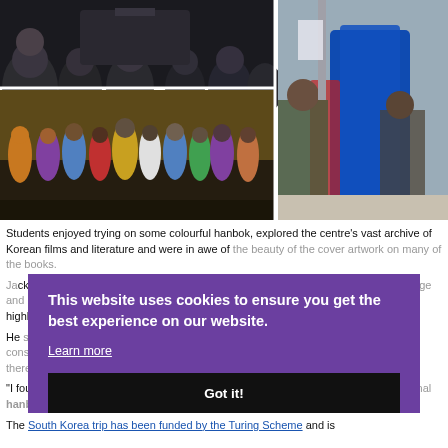[Figure (photo): Top-left: audience/students from behind in a dark auditorium setting. Bottom-left: large group photo of students wearing colourful Korean hanbok traditional costumes, most wearing face masks. Right: close-up of people handling blue and other coloured fabric/garments.]
Students enjoyed trying on some colourful hanbok, explored the centre's vast archive of Korean films and literature and were in awe of the beauty of the cover artwork on many of the books.
Jack Griffith is currently studying the International Baccalaureate Diploma at the college and is also taking A Level Korean and North East London Consortium trips were a highlight of the visit.
He said it was 'a very enlightening and enjoyable experience. We were given considerable information about Korean culture and destinations to visit while we are there.'
"I found it not only entertaining but also really educational. I enjoyed trying on traditional hanbok, which was a unique experience that I never thought I could do in London."
The South Korea trip has been funded by the Turing Scheme and is
[Figure (screenshot): Cookie consent overlay popup with purple background. Text: 'This website uses cookies to ensure you get the best experience on our website.' Link: 'Learn more'. Black button: 'Got it!']